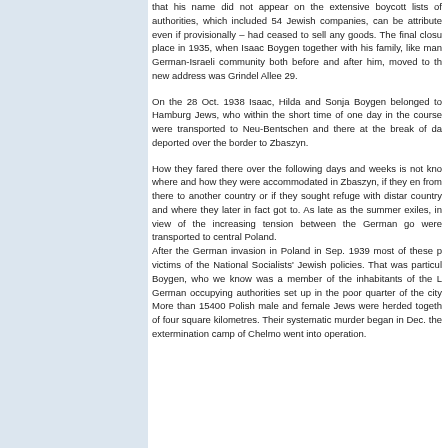that his name did not appear on the extensive boycott lists of authorities, which included 54 Jewish companies, can be attributed even if provisionally – had ceased to sell any goods. The final closure place in 1935, when Isaac Boygen together with his family, like many German-Israeli community both before and after him, moved to the new address was Grindel Allee 29.
On the 28 Oct. 1938 Isaac, Hilda and Sonja Boygen belonged to Hamburg Jews, who within the short time of one day in the course were transported to Neu-Bentschen and there at the break of dawn deported over the border to Zbaszyn.
How they fared there over the following days and weeks is not known, where and how they were accommodated in Zbaszyn, if they emigrated from there to another country or if they sought refuge with distant country and where they later in fact got to. As late as the summer exiles, in view of the increasing tension between the German government, were transported to central Poland. After the German invasion in Poland in Sep. 1939 most of these people victims of the National Socialists' Jewish policies. That was particularly Boygen, who we know was a member of the inhabitants of the Lublin German occupying authorities set up in the poor quarter of the city. More than 15400 Polish male and female Jews were herded together of four square kilometres. Their systematic murder began in Dec. the extermination camp of Chelmo went into operation.